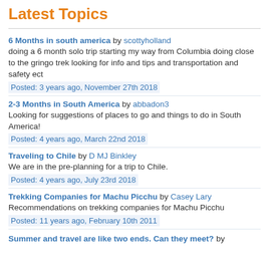Latest Topics
6 Months in south america by scottyholland
doing a 6 month solo trip starting my way from Columbia doing close to the gringo trek looking for info and tips and transportation and safety ect
Posted: 3 years ago, November 27th 2018
2-3 Months in South America by abbadon3
Looking for suggestions of places to go and things to do in South America!
Posted: 4 years ago, March 22nd 2018
Traveling to Chile by D MJ Binkley
We are in the pre-planning for a trip to Chile.
Posted: 4 years ago, July 23rd 2018
Trekking Companies for Machu Picchu by Casey Lary
Recommendations on trekking companies for Machu Picchu
Posted: 11 years ago, February 10th 2011
Summer and travel are like two ends. Can they meet? by